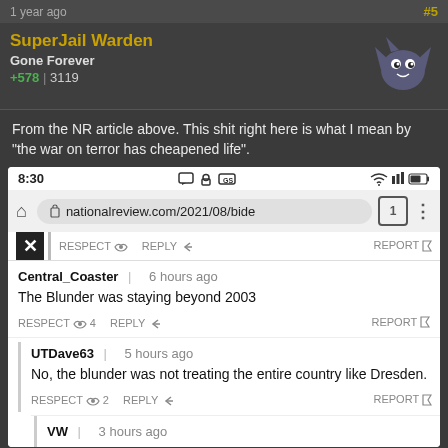1 year ago   #5
SuperJail Warden
Gone Forever
+578 | 3119
From the NR article above. This shit right here is what I mean by "the war on terror has cheapened life".
[Figure (screenshot): Mobile browser screenshot showing nationalreview.com/2021/08/bide... with comment thread. Status bar shows 8:30. Comment from Central_Coaster 6 hours ago: 'The Blunder was staying beyond 2003'. Reply from UTDave63 5 hours ago: 'No, the blunder was not treating the entire country like Dresden.' Reply from VW 3 hours ago.]